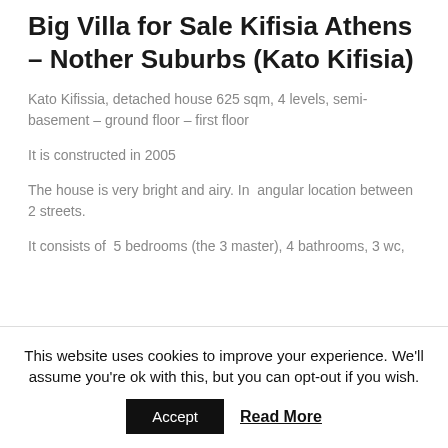Big Villa for Sale Kifisia Athens – Nother Suburbs (Kato Kifisia)
Kato Kifissia, detached house 625 sqm, 4 levels, semi-basement – ground floor – first floor
It is constructed in 2005
The house is very bright and airy. In  angular location between 2 streets.
It consists of  5 bedrooms (the 3 master), 4 bathrooms, 3 wc,
This website uses cookies to improve your experience. We'll assume you're ok with this, but you can opt-out if you wish.